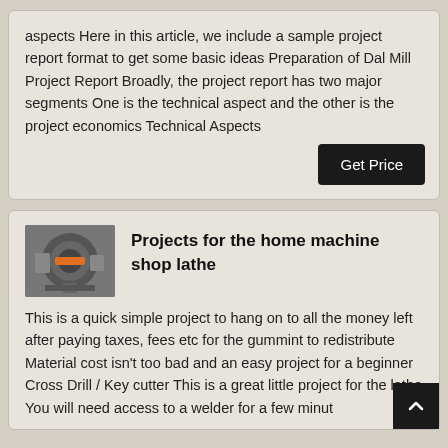aspects Here in this article, we include a sample project report format to get some basic ideas Preparation of Dal Mill Project Report Broadly, the project report has two major segments One is the technical aspect and the other is the project economics Technical Aspects
[Figure (photo): Industrial machine, likely a mill or crusher, shown in gray tones with orange accent]
Projects for the home machine shop lathe
This is a quick simple project to hang on to all the money left after paying taxes, fees etc for the gummint to redistribute Material cost isn't too bad and an easy project for a beginner Cross Drill / Key cutter This is a great little project for the lathe You will need access to a welder for a few minut